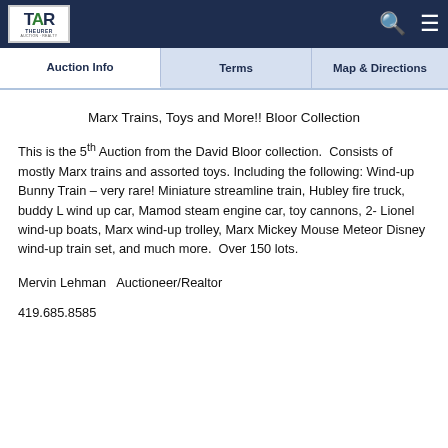TAR THEURER AUCTION REALTY
Auction Info | Terms | Map & Directions
Marx Trains, Toys and More!! Bloor Collection
This is the 5th Auction from the David Bloor collection. Consists of mostly Marx trains and assorted toys. Including the following: Wind-up Bunny Train – very rare! Miniature streamline train, Hubley fire truck, buddy L wind up car, Mamod steam engine car, toy cannons, 2- Lionel wind-up boats, Marx wind-up trolley, Marx Mickey Mouse Meteor Disney wind-up train set, and much more. Over 150 lots.
Mervin Lehman   Auctioneer/Realtor
419.685.8585